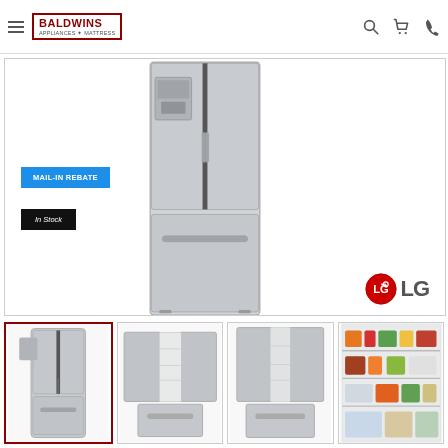Baldwins Appliances + Mattress — navigation header with logo, search, cart, phone icons
[Figure (photo): LG stainless steel French door refrigerator with bottom freezer drawer, ice/water dispenser on upper left door. Mail-in Rebate badge (blue) and In Stock badge (black) on left side. LG logo bottom right.]
[Figure (photo): Thumbnail 1 (selected, red border): LG French door refrigerator front view, stainless steel]
[Figure (photo): Thumbnail 2: LG French door refrigerator open front view showing interior]
[Figure (photo): Thumbnail 3: LG French door refrigerator open view from front angle showing both doors open]
[Figure (photo): Thumbnail 4: Interior shelving of refrigerator with food items visible]